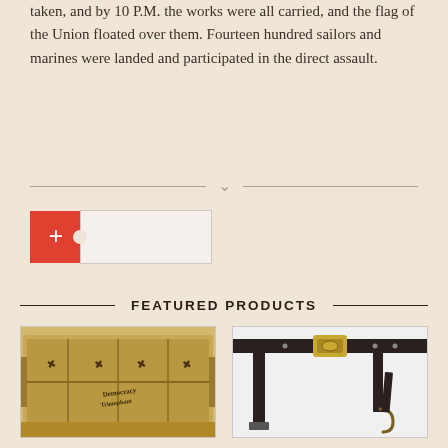taken, and by 10 P.M. the works were all carried, and the flag of the Union floated over them. Fourteen hundred sailors and marines were landed and participated in the direct assault.
[Figure (other): Decorative divider with chevron/arrow pointing downward between two horizontal lines]
[Figure (other): Red plus button with a ticket/coupon shape input field next to it]
FEATURED PRODUCTS
[Figure (photo): Photograph of an antique wooden trunk with decorative eagle and text 'Democracy Triumphant' printed on it]
[Figure (photo): Photograph of a military leather belt with brass buckle featuring an eagle design, along with straps and hardware]